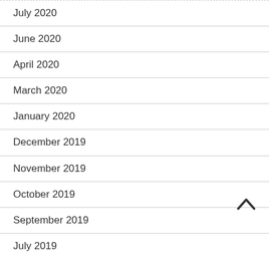July 2020
June 2020
April 2020
March 2020
January 2020
December 2019
November 2019
October 2019
September 2019
July 2019